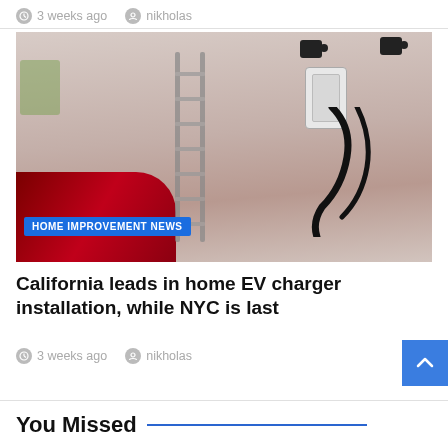3 weeks ago   nikholas
[Figure (photo): Photo of a home garage showing a red electric vehicle with a charging cable plugged in, a wall-mounted EV charger unit, a metal ladder, and security cameras on the wall. A blue badge overlay reads 'HOME IMPROVEMENT NEWS'.]
HOME IMPROVEMENT NEWS
California leads in home EV charger installation, while NYC is last
3 weeks ago   nikholas
You Missed